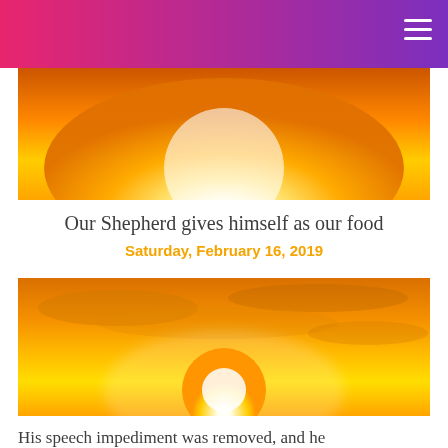[Figure (photo): Sunset image with bright white-yellow sun and orange sky, top portion]
Our Shepherd gives himself as our food
Saturday, February 16, 2019
[Figure (photo): Sunset image with bright white sun glowing above horizon, orange and golden sky with clouds]
His speech impediment was removed, and he